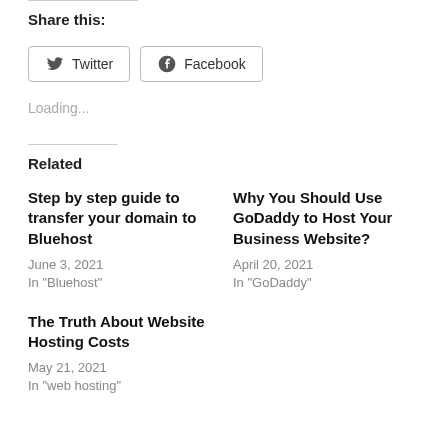Share this:
[Figure (other): Social share buttons: Twitter and Facebook]
Loading...
Related
Step by step guide to transfer your domain to Bluehost
June 3, 2021
In "Bluehost"
Why You Should Use GoDaddy to Host Your Business Website?
April 20, 2021
In "GoDaddy"
The Truth About Website Hosting Costs
May 21, 2021
In "web hosting"